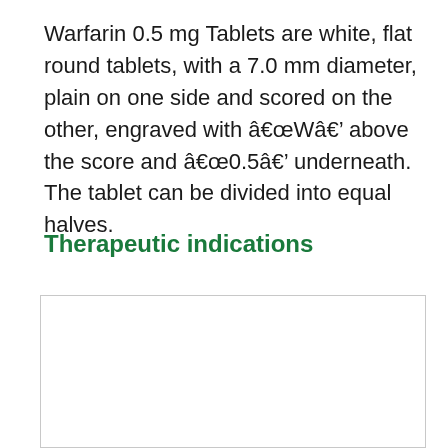Warfarin 0.5 mg Tablets are white, flat round tablets, with a 7.0 mm diameter, plain on one side and scored on the other, engraved with â€œWâ€ above the score and â€œ0.5â€ underneath. The tablet can be divided into equal halves.
Therapeutic indications